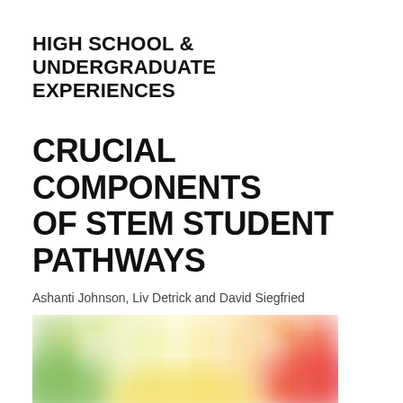HIGH SCHOOL & UNDERGRADUATE EXPERIENCES
CRUCIAL COMPONENTS OF STEM STUDENT PATHWAYS
Ashanti Johnson, Liv Detrick and David Siegfried
[Figure (illustration): Colorful blurred light streaks forming a gradient from green on the left through yellow and orange to red on the right, with vertical bar-like shapes visible, suggesting an abstract background image.]